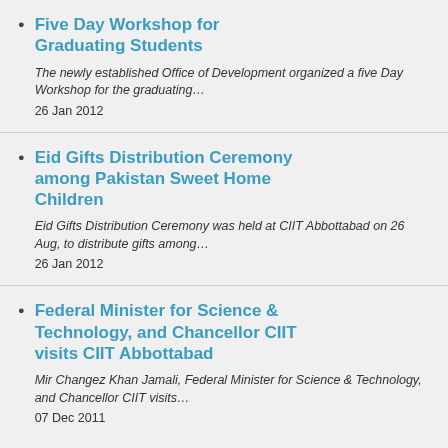Five Day Workshop for Graduating Students
The newly established Office of Development organized a five Day Workshop for the graduating…
26 Jan 2012
Eid Gifts Distribution Ceremony among Pakistan Sweet Home Children
Eid Gifts Distribution Ceremony was held at CIIT Abbottabad on 26 Aug, to distribute gifts among…
26 Jan 2012
Federal Minister for Science & Technology, and Chancellor CIIT visits CIIT Abbottabad
Mir Changez Khan Jamali, Federal Minister for Science & Technology, and Chancellor CIIT visits…
07 Dec 2011